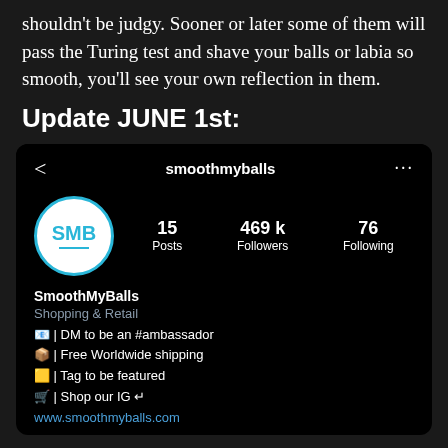shouldn't be judgy. Sooner or later some of them will pass the Turing test and shave your balls or labia so smooth, you'll see your own reflection in them.
Update JUNE 1st:
[Figure (screenshot): Instagram profile screenshot for @smoothmyballs showing 15 posts, 469k followers, 76 following. Profile name SmoothMyBalls, category Shopping & Retail, bio lines about ambassador DMs, free worldwide shipping, tag to be featured, shop IG, and website www.smoothmyballs.com]